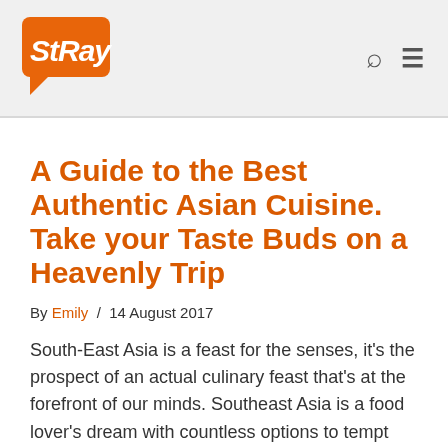Stray [logo] / Search / Menu
A Guide to the Best Authentic Asian Cuisine. Take your Taste Buds on a Heavenly Trip
By Emily / 14 August 2017
South-East Asia is a feast for the senses, it's the prospect of an actual culinary feast that's at the forefront of our minds. Southeast Asia is a food lover's dream with countless options to tempt the taste buds. This is our list of the best authentic